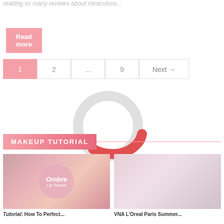reading so many reviews about miraculous...
Read more
1  2  ...  9  Next →
[Figure (illustration): Search/magnifying glass icon, circular shape with a red curved highlight at the bottom]
MAKEUP TUTORIAL
[Figure (photo): Ombre Lip Tutorial makeup tutorial thumbnail showing lips and woman's face with pink circular overlay]
[Figure (photo): VNA LOreal Paris Summer eye makeup tutorial thumbnail showing close-up of eye with pink eyeshadow]
Tutorial: How To Perfect...
VNA L'Oreal Paris Summer...